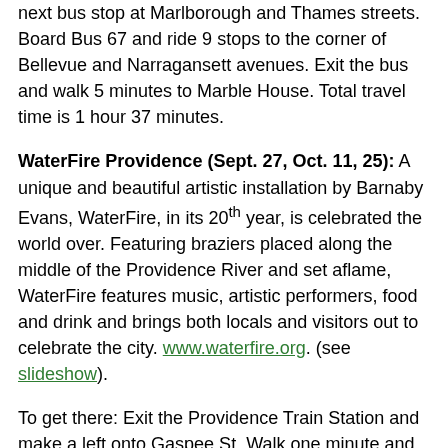next bus stop at Marlborough and Thames streets. Board Bus 67 and ride 9 stops to the corner of Bellevue and Narragansett avenues. Exit the bus and walk 5 minutes to Marble House. Total travel time is 1 hour 37 minutes.
WaterFire Providence (Sept. 27, Oct. 11, 25): A unique and beautiful artistic installation by Barnaby Evans, WaterFire, in its 20th year, is celebrated the world over. Featuring braziers placed along the middle of the Providence River and set aflame, WaterFire features music, artistic performers, food and drink and brings both locals and visitors out to celebrate the city. www.waterfire.org. (see slideshow).
To get there: Exit the Providence Train Station and make a left onto Gaspee St. Walk one minute and take a left on Francis St. Walk three minutes to the Providence River and the first viewing point for WaterFire, which starts at sunset.
International Polo Series (Through September): This royal sport, played at Glen Farm in Portsmouth, ...